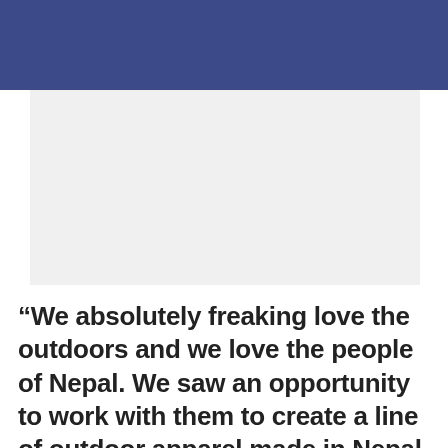[Figure (other): Dark blue/navy header banner at top of page]
[Figure (photo): Large light gray image placeholder area below the header]
“We absolutely freaking love the outdoors and we love the people of Nepal. We saw an opportunity to work with them to create a line of outdoor apparel made in Nepal, and to bring it to North